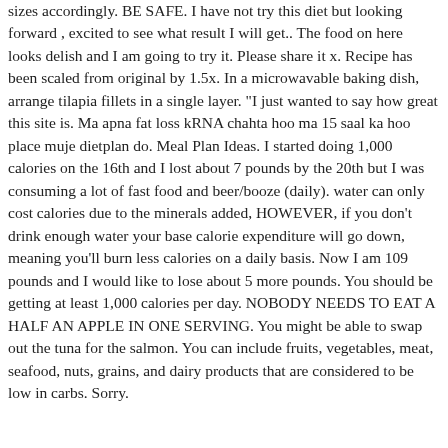sizes accordingly. BE SAFE. I have not try this diet but looking forward , excited to see what result I will get.. The food on here looks delish and I am going to try it. Please share it x. Recipe has been scaled from original by 1.5x. In a microwavable baking dish, arrange tilapia fillets in a single layer. "I just wanted to say how great this site is. Ma apna fat loss kRNA chahta hoo ma 15 saal ka hoo place muje dietplan do. Meal Plan Ideas. I started doing 1,000 calories on the 16th and I lost about 7 pounds by the 20th but I was consuming a lot of fast food and beer/booze (daily). water can only cost calories due to the minerals added, HOWEVER, if you don't drink enough water your base calorie expenditure will go down, meaning you'll burn less calories on a daily basis. Now I am 109 pounds and I would like to lose about 5 more pounds. You should be getting at least 1,000 calories per day. NOBODY NEEDS TO EAT A HALF AN APPLE IN ONE SERVING. You might be able to swap out the tuna for the salmon. You can include fruits, vegetables, meat, seafood, nuts, grains, and dairy products that are considered to be low in carbs. Sorry.